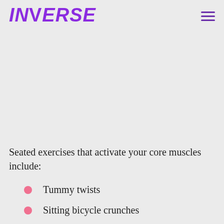INVERSE
Seated exercises that activate your core muscles include:
Tummy twists
Sitting bicycle crunches